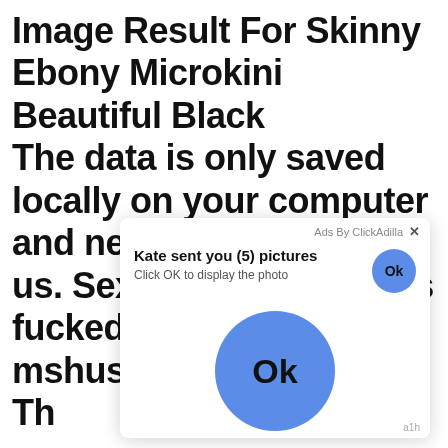Image Result For Skinny Ebony Microkini Beautiful Black The data is only saved locally on your computer and never transferred to us. Sexy black chick gets fucked in threesome - mshush. The data is only saved locally on your computer and never transferred to us. Black girl ... not ..., could ... if the ... black cocks we live together lesbos -
[Figure (screenshot): Ad overlay popup from ClickAdilla. Title: 'Kate sent you (5) pictures'. Subtitle: 'Click OK to display the photo'. Small blue circle Ok button top right. Large blue circle Ok button in center of popup. Corner label 'a1h'.]